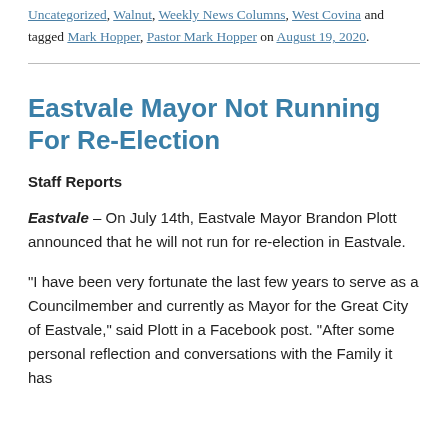Uncategorized, Walnut, Weekly News Columns, West Covina and tagged Mark Hopper, Pastor Mark Hopper on August 19, 2020.
Eastvale Mayor Not Running For Re-Election
Staff Reports
Eastvale – On July 14th, Eastvale Mayor Brandon Plott announced that he will not run for re-election in Eastvale.
“I have been very fortunate the last few years to serve as a Councilmember and currently as Mayor for the Great City of Eastvale,” said Plott in a Facebook post. “After some personal reflection and conversations with the Family it has